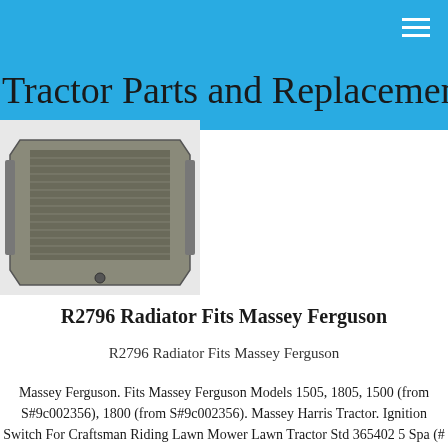Tractor Parts and Replacement
[Figure (photo): A radiator unit for Massey Ferguson tractor, metallic silver/gray color, rectangular shaped with fins visible]
R2796 Radiator Fits Massey Ferguson
R2796 Radiator Fits Massey Ferguson
Massey Ferguson. Fits Massey Ferguson Models 1505, 1805, 1500 (from S#9c002356), 1800 (from S#9c002356). Massey Harris Tractor. Ignition Switch For Craftsman Riding Lawn Mower Lawn Tractor Std 365402 5 Spa (# 322401174216 ).